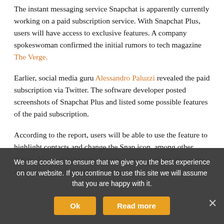The instant messaging service Snapchat is apparently currently working on a paid subscription service. With Snapchat Plus, users will have access to exclusive features. A company spokeswoman confirmed the initial rumors to tech magazine The Verge.
Earlier, social media guru Alessandro Paluzzi revealed the paid subscription via Twitter. The software developer posted screenshots of Snapchat Plus and listed some possible features of the paid subscription.
According to the report, users will be able to use the feature to highlight contacts and change the Snap icon, among other things. Also, with the subscription, users would be able to see again who has viewed their Stories.
We use cookies to ensure that we give you the best experience on our website. If you continue to use this site we will assume that you are happy with it.